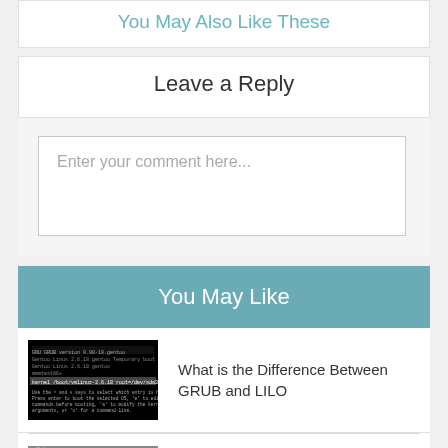You May Also Like These
Leave a Reply
Enter your comment here...
You May Like
[Figure (screenshot): Terminal/CLI screenshot showing GRUB bootloader text]
What is the Difference Between GRUB and LILO
[Figure (screenshot): VirtualBox application window screenshot]
What is the Difference Between VirtualBox and